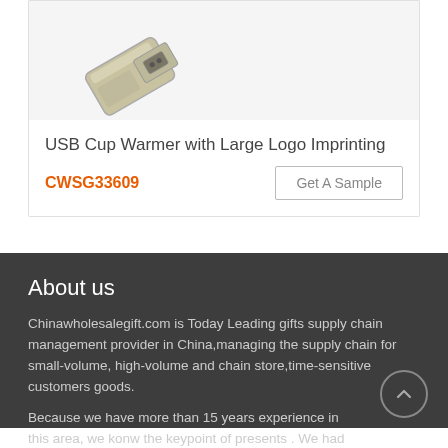[Figure (photo): Partial image of a USB drive (USB Cup Warmer product) shown from above at an angle, metallic/silver color, on a light gray background.]
USB Cup Warmer with Large Logo Imprinting
CWSG33609
About us
Chinawholesalegift.com is Today Leading gifts supply chain management provider in China,managing the supply chain for small-volume, high-volume and chain store,time-sensitive customers goods.
Because we have more than 15 years experience in this area, we konw the keypoint of presents . We had serviced thousands of